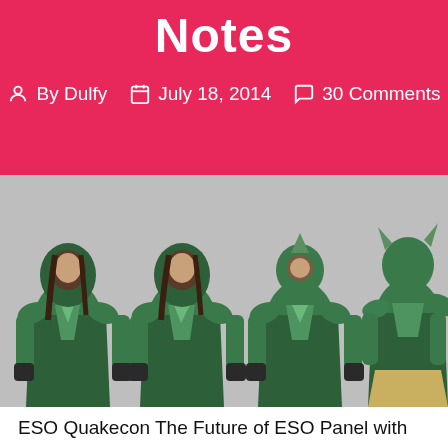Notes
By Dulfy   July 18, 2014   30 Comments
[Figure (photo): Four views of a male character wearing green dragon-scale style armor from Elder Scrolls Online, shown against a grey background. Two views show the character with hood down and two with a horned helmet.]
ESO Quakecon The Future of ESO Panel with